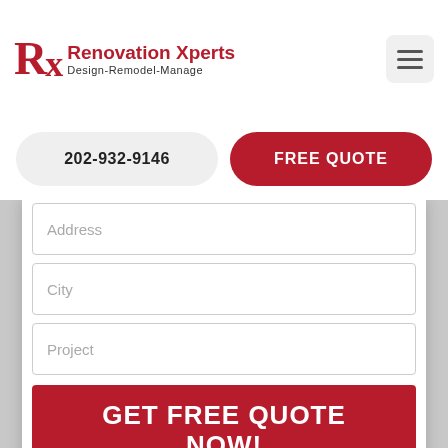[Figure (logo): Renovation Xperts logo with RX symbol in dark red and tagline Design-Remodel-Manage]
202-932-9146
FREE QUOTE
Address
City
Project
GET FREE QUOTE NOW!